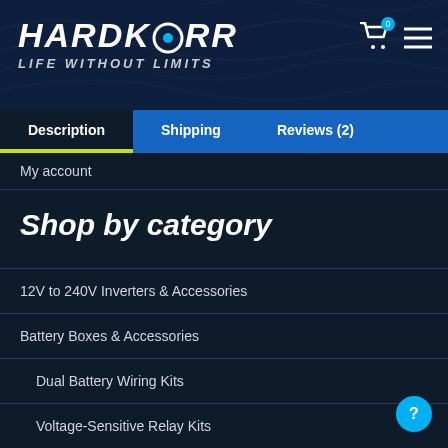[Figure (logo): Hardkorr logo with 'Life Without Limits' tagline on dark navy background with wave patterns, cart icon and menu icon in top right]
Description | Shipping | Reviews (2)
My account
Shop by category
12V to 240V Inverters & Accessories
Battery Boxes & Accessories
Dual Battery Wiring Kits
Voltage-Sensitive Relay Kits
Camping Equipment
Awnings
Tools
Deep Cycle Batteries